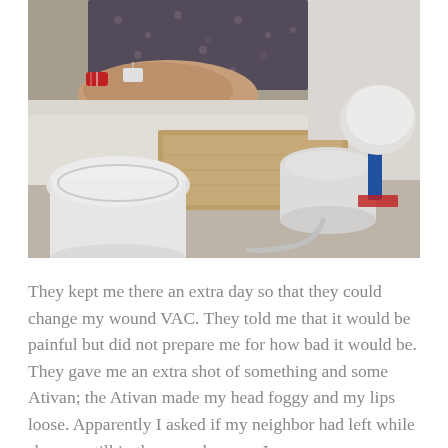[Figure (photo): Hospital scene showing a patient's arm with a red hospital wristband and IV line, wearing a patterned hospital gown, with medical equipment including what appears to be wound VAC containers/cups on a hospital bed tray.]
They kept me there an extra day so that they could change my wound VAC. They told me that it would be painful but did not prepare me for how bad it would be. They gave me an extra shot of something and some Ativan; the Ativan made my head foggy and my lips loose. Apparently I asked if my neighbor had left while she was still in the room because I